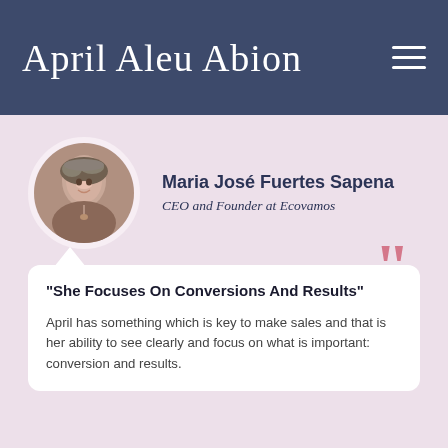April Aleu Abion
Maria José Fuertes Sapena
CEO and Founder at Ecovamos
"She Focuses On Conversions And Results"
April has something which is key to make sales and that is her ability to see clearly and focus on what is important: conversion and results.